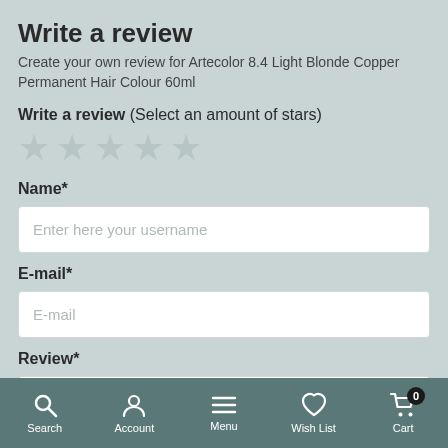Write a review
Create your own review for Artecolor 8.4 Light Blonde Copper Permanent Hair Colour 60ml
Write a review (Select an amount of stars)
[Figure (other): Five light grey/muted star icons for rating selection]
Name*
Enter here your username
E-mail*
E-mail
Review*
Search  Account  Menu  Wish List  Cart 0